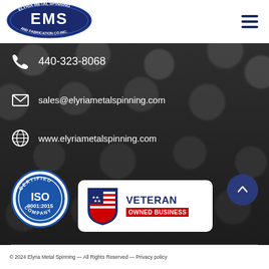[Figure (logo): Elyria Metal Spinning and Fabrication Co. Inc. (EMS) logo — oval badge with EMS lettering in white on dark blue/navy background]
440-323-8068
sales@elyriametalspinning.com
www.elyriametalspinning.com
[Figure (logo): ISO 9001:2015 Certified Company circular badge in blue and white]
[Figure (logo): Veteran Owned Business badge with American flag shield and bold text]
© 2024 Elyria Metal Spinning — All Rights Reserved — Privacy policy